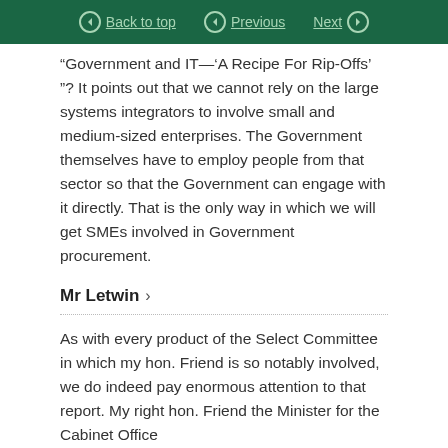Back to top | Previous | Next
“Government and IT—‘A Recipe For Rip-Offs’ ”? It points out that we cannot rely on the large systems integrators to involve small and medium-sized enterprises. The Government themselves have to employ people from that sector so that the Government can engage with it directly. That is the only way in which we will get SMEs involved in Government procurement.
Mr Letwin ›
As with every product of the Select Committee in which my hon. Friend is so notably involved, we do indeed pay enormous attention to that report. My right hon. Friend the Minister for the Cabinet Office